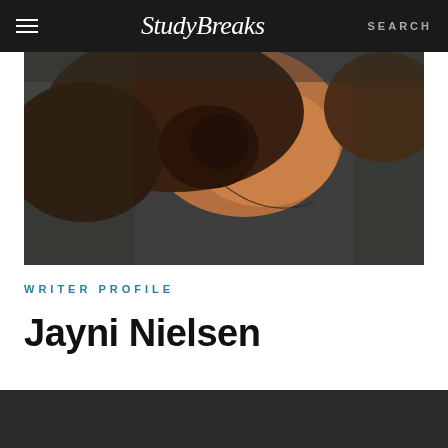Study Breaks | SEARCH
[Figure (photo): Close-up photo of a person with dark curly hair wearing a dark gray top and a thin necklace, warm amber/golden lighting on their neck and face]
WRITER PROFILE
Jayni Nielsen